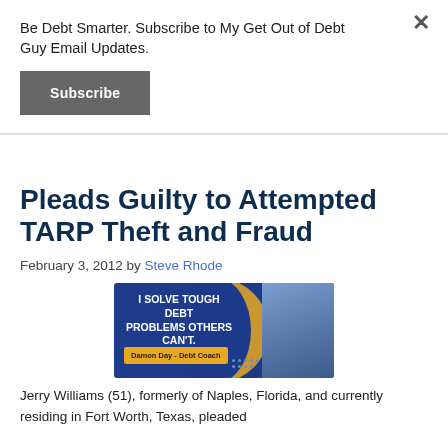Be Debt Smarter. Subscribe to My Get Out of Debt Guy Email Updates.
Subscribe
Pleads Guilty to Attempted TARP Theft and Fraud
February 3, 2012 by Steve Rhode
[Figure (illustration): Advertisement banner: 'I Solve Tough Debt Problems Others Can't.' featuring Damon Day - Debt Coach with photo of a bearded man in blue shirt, gold accent, blue background.]
Jerry Williams (51), formerly of Naples, Florida, and currently residing in Fort Worth, Texas, pleaded